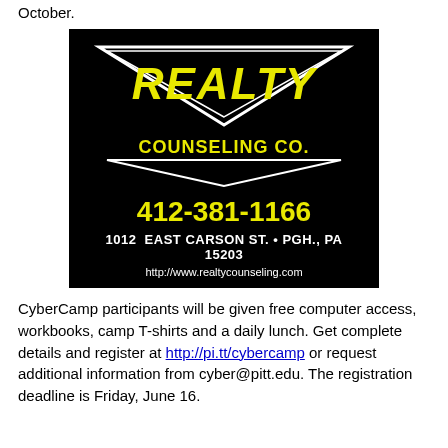October.
[Figure (logo): Realty Counseling Co. advertisement logo on black background with inverted triangle, yellow REALTY text, yellow COUNSELING CO. text, yellow phone number 412-381-1166, white address 1012 EAST CARSON ST. • PGH., PA 15203, white URL http://www.realtycounseling.com]
CyberCamp participants will be given free computer access, workbooks, camp T-shirts and a daily lunch. Get complete details and register at http://pi.tt/cybercamp or request additional information from cyber@pitt.edu. The registration deadline is Friday, June 16.